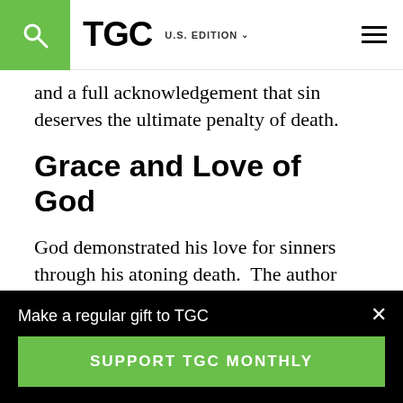TGC  U.S. EDITION
and a full acknowledgement that sin deserves the ultimate penalty of death.
Grace and Love of God
God demonstrated his love for sinners through his atoning death.  The author writes:
But then, when the time arrived that God planned to reveal at last his
Make a regular gift to TGC
SUPPORT TGC MONTHLY